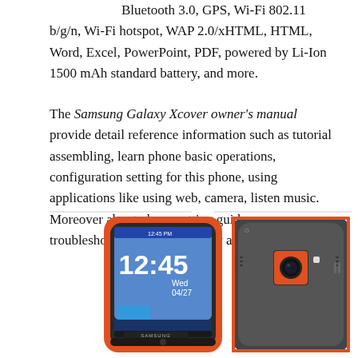Bluetooth 3.0, GPS, Wi-Fi 802.11 b/g/n, Wi-Fi hotspot, WAP 2.0/xHTML, HTML, Word, Excel, PowerPoint, PDF, powered by Li-Ion 1500 mAh standard battery, and more.
The Samsung Galaxy Xcover owner's manual provide detail reference information such as tutorial assembling, learn phone basic operations, configuration setting for this phone, using applications like using web, camera, listen music. Moreover about phone setting guide, troubleshooting problem, safety and more.
[Figure (photo): Two Samsung Galaxy Xcover phones shown side by side. The left phone shows the front with an orange/red border and a screen displaying 12:45 Wed 04/27. The right phone shows the back with a dark textured case and orange camera ring.]